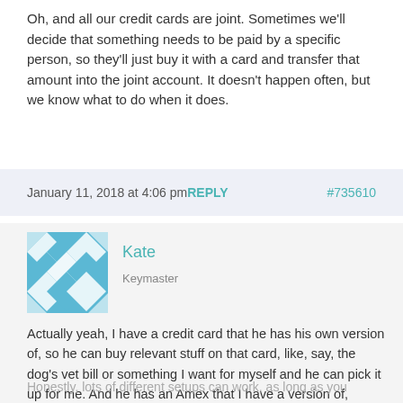Oh, and all our credit cards are joint. Sometimes we'll decide that something needs to be paid by a specific person, so they'll just buy it with a card and transfer that amount into the joint account. It doesn't happen often, but we know what to do when it does.
January 11, 2018 at 4:06 pmREPLY #735610
[Figure (illustration): User avatar with blue and white diamond/geometric tile pattern]
Kate
Keymaster
Actually yeah, I have a credit card that he has his own version of, so he can buy relevant stuff on that card, like, say, the dog's vet bill or something I want for myself and he can pick it up for me. And he has an Amex that I have a version of, which we use on vacation and stuff.
Honestly, lots of different setups can work, as long as you